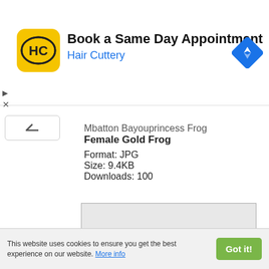[Figure (screenshot): Hair Cuttery advertisement banner with yellow logo showing 'HC', title 'Book a Same Day Appointment', subtitle 'Hair Cuttery', and a blue navigation diamond icon on the right.]
Mbatton Bayouprincess Frog Female Gold Frog
Format: JPG
Size: 9.4KB
Downloads: 100
[Figure (photo): Image preview area with light gray background and a checkered transparency pattern in the lower portion, representing a frog image placeholder.]
This website uses cookies to ensure you get the best experience on our website. More info